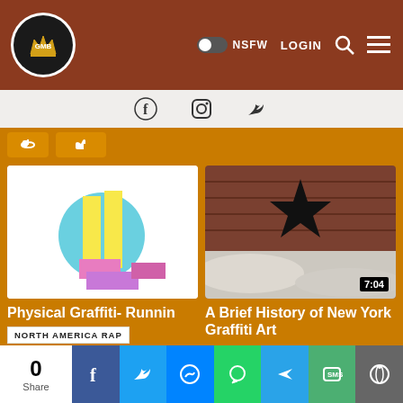GMB — NSFW LOGIN [search] [menu]
[Figure (screenshot): Social media icons: Facebook, Instagram, Twitter]
[Figure (screenshot): Partial like/dislike buttons at top]
[Figure (photo): Physical Graffiti Runnin thumbnail - abstract colorful geometric shapes on white background]
Physical Graffiti- Runnin
NORTH AMERICA RAP
+2
[Figure (photo): A Brief History of New York Graffiti Art thumbnail - black star stencil graffiti on snowy brick wall, video duration 7:04]
A Brief History of New York Graffiti Art
STREET ART
+2
0 Share — Facebook, Twitter, Messenger, WhatsApp, Telegram, SMS, Reddit share buttons